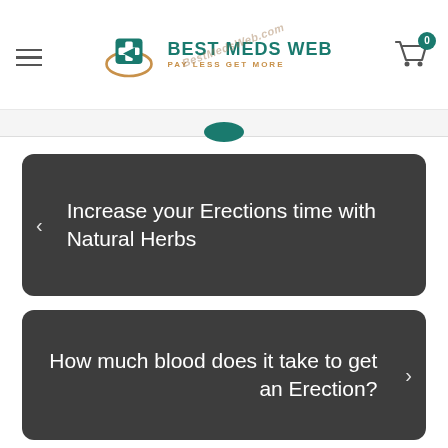[Figure (logo): Best Meds Web logo with teal cross/pill icon and tagline 'Pay Less Get More']
Increase your Erections time with Natural Herbs
How much blood does it take to get an Erection?